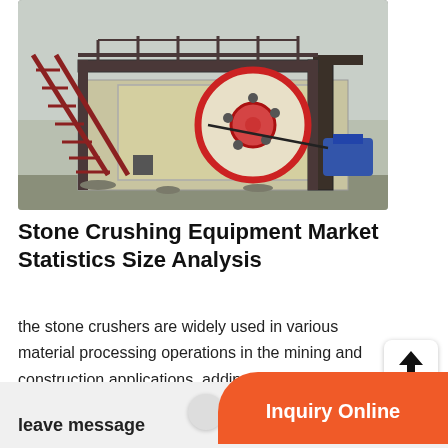[Figure (photo): Industrial stone jaw crusher machine with red metal staircase on the left, large circular flywheel with red rim in the center, mounted on a raised platform structure outdoors]
Stone Crushing Equipment Market Statistics Size Analysis
the stone crushers are widely used in various material processing operations in the mining and construction applications, adding up to the stone crushing equipment market growth prospects. increasing government